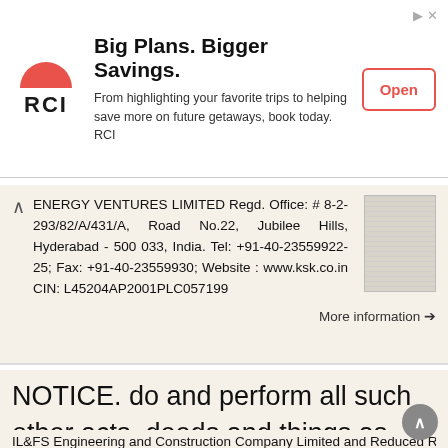[Figure (advertisement): RCI advertisement banner with red half-circle logo, headline 'Big Plans. Bigger Savings.', body text about highlighting trips and saving on getaways, and an Open button]
ENERGY VENTURES LIMITED Regd. Office: # 8-2-293/82/A/431/A, Road No.22, Jubilee Hills, Hyderabad - 500 033, India. Tel: +91-40-23559922-25; Fax: +91-40-23559930; Website : www.ksk.co.in CIN: L45204AP2001PLC057199
More information →
NOTICE. do and perform all such other acts, deeds and things as may be necessary or desirable to give effect to the
IL&FS Engineering and Construction Company Limited and Reduced Registered Office : Door No 8-2-120/113/3/4F, Sanali Info Park Cyber Towers NOTICE is here...